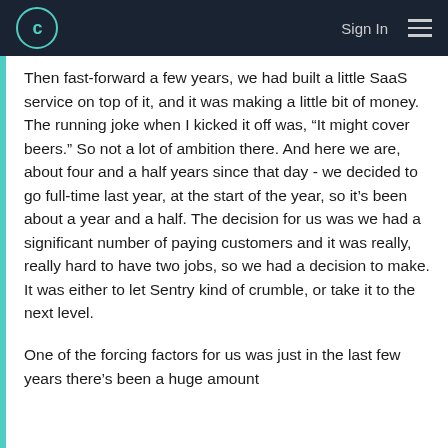C  Sign In
Then fast-forward a few years, we had built a little SaaS service on top of it, and it was making a little bit of money. The running joke when I kicked it off was, “It might cover beers.” So not a lot of ambition there. And here we are, about four and a half years since that day - we decided to go full-time last year, at the start of the year, so it’s been about a year and a half. The decision for us was we had a significant number of paying customers and it was really, really hard to have two jobs, so we had a decision to make. It was either to let Sentry kind of crumble, or take it to the next level.
One of the forcing factors for us was just in the last few years there’s been a huge amount